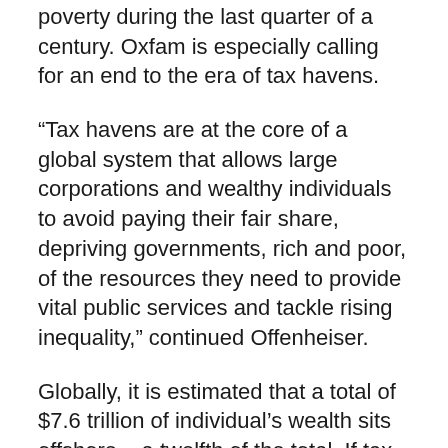poverty during the last quarter of a century. Oxfam is especially calling for an end to the era of tax havens.
“Tax havens are at the core of a global system that allows large corporations and wealthy individuals to avoid paying their fair share, depriving governments, rich and poor, of the resources they need to provide vital public services and tackle rising inequality,” continued Offenheiser.
Globally, it is estimated that a total of $7.6 trillion of individual’s wealth sits offshore – a twelfth of the total. If tax would be paid on the income that this wealth generates, an extra $190 billion would be available to governments every year.